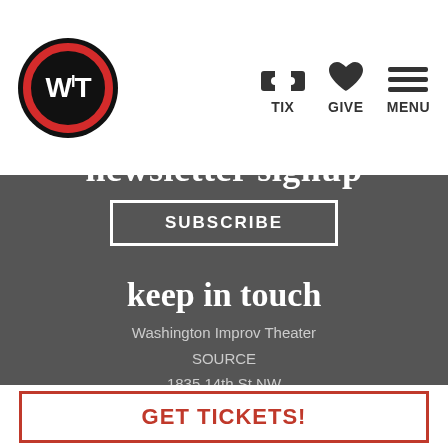[Figure (logo): Washington Improv Theater (WIT) logo: black circle with red ring and white WIT text]
TIX  GIVE  MENU
newsletter signup
SUBSCRIBE
keep in touch
Washington Improv Theater
SOURCE
1835 14th St NW
Washington DC 20009
GET TICKETS!